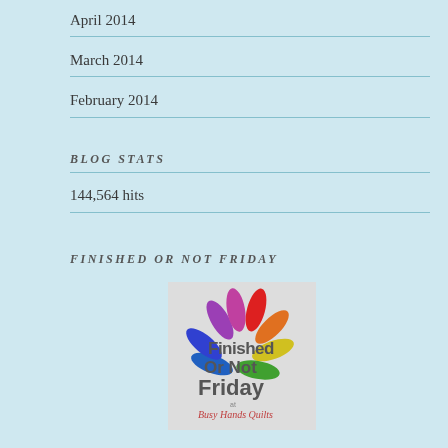April 2014
March 2014
February 2014
BLOG STATS
144,564 hits
FINISHED OR NOT FRIDAY
[Figure (logo): Finished Or Not Friday at Busy Hands Quilts logo with colorful flower petals]